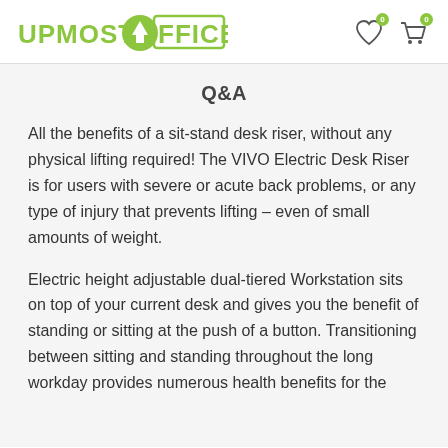UPMOSTOFFICE
Q&A
All the benefits of a sit-stand desk riser, without any physical lifting required! The VIVO Electric Desk Riser is for users with severe or acute back problems, or any type of injury that prevents lifting – even of small amounts of weight.
Electric height adjustable dual-tiered Workstation sits on top of your current desk and gives you the benefit of standing or sitting at the push of a button. Transitioning between sitting and standing throughout the long workday provides numerous health benefits for the